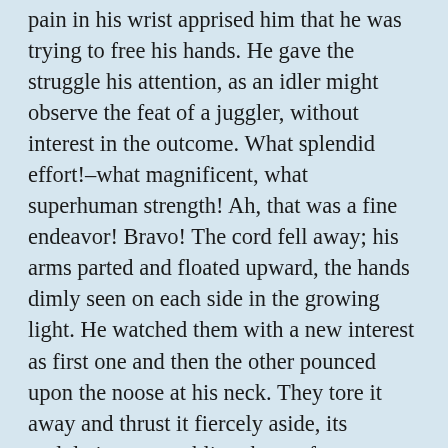pain in his wrist apprised him that he was trying to free his hands. He gave the struggle his attention, as an idler might observe the feat of a juggler, without interest in the outcome. What splendid effort!–what magnificent, what superhuman strength! Ah, that was a fine endeavor! Bravo! The cord fell away; his arms parted and floated upward, the hands dimly seen on each side in the growing light. He watched them with a new interest as first one and then the other pounced upon the noose at his neck. They tore it away and thrust it fiercely aside, its undulations resembling those of a water snake. “Put it back, put it back!” He thought he shouted these words to his hands, for the undoing of the noose had been succeeded by the direst pang that he had